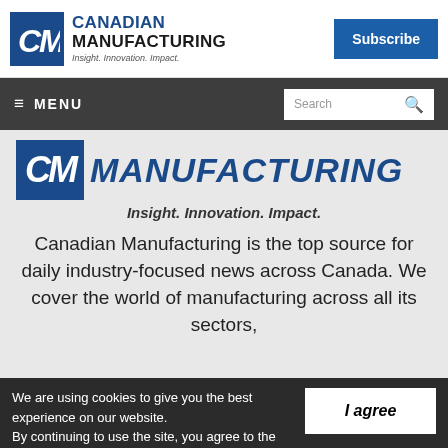CANADIAN MANUFACTURING — Insight. Innovation. Impact. | Subscribe
≡ MENU | Search
[Figure (logo): Canadian Manufacturing logo with CM icon and tagline Insight. Innovation. Impact.]
Canadian Manufacturing is the top source for daily industry-focused news across Canada. We cover the world of manufacturing across all its sectors,
We are using cookies to give you the best experience on our website. By continuing to use the site, you agree to the use of cookies. To find out more, read our privacy policy.